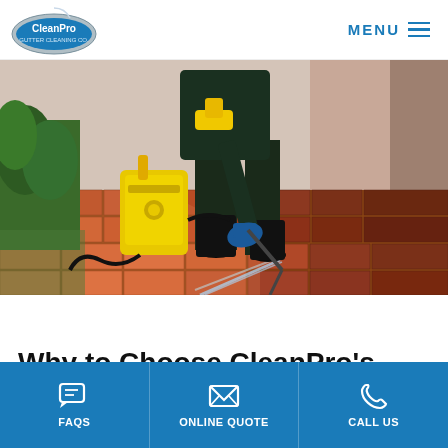[Figure (logo): CleanPro logo — oval blue/grey badge with white 'CleanPro' text and arc graphic]
MENU
[Figure (photo): Person in dark clothing and rubber boots using a yellow pressure washer to clean a red brick patio, with green shrubs on the left and a pink wall on the right.]
Why to Choose CleanPro's
FAQS | ONLINE QUOTE | CALL US